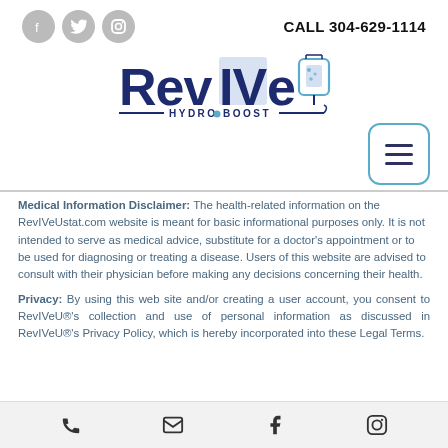CALL 304-629-1114
[Figure (logo): RevIVe Hydro Boost logo with IV bag icon]
[Figure (other): Hamburger menu button with rounded border]
Medical Information Disclaimer: The health-related information on the RevIVeUstat.com website is meant for basic informational purposes only. It is not intended to serve as medical advice, substitute for a doctor's appointment or to be used for diagnosing or treating a disease. Users of this website are advised to consult with their physician before making any decisions concerning their health.
Privacy: By using this web site and/or creating a user account, you consent to RevIVeU®'s collection and use of personal information as discussed in RevIVeU®'s Privacy Policy, which is hereby incorporated into these Legal Terms.
Phone | Email | Facebook | Instagram icons